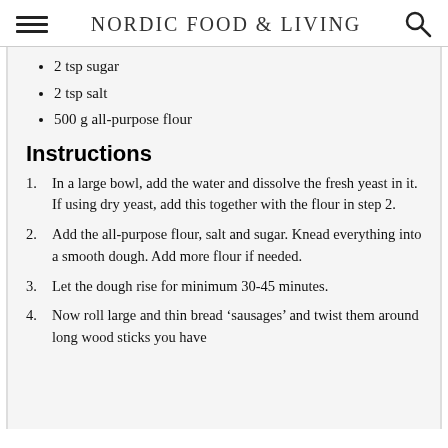Nordic Food & Living
2 tsp sugar
2 tsp salt
500 g all-purpose flour
Instructions
In a large bowl, add the water and dissolve the fresh yeast in it. If using dry yeast, add this together with the flour in step 2.
Add the all-purpose flour, salt and sugar. Knead everything into a smooth dough. Add more flour if needed.
Let the dough rise for minimum 30-45 minutes.
Now roll large and thin bread ‘sausages’ and twist them around long wood sticks you have